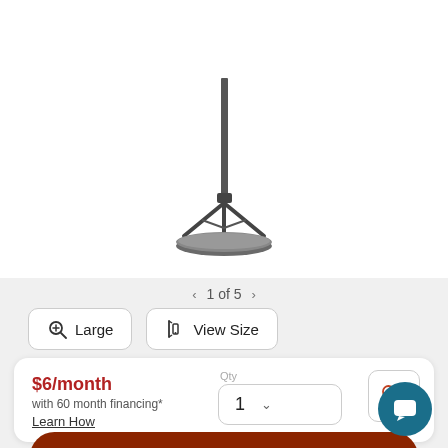[Figure (photo): Bottom portion of a floor lamp showing the metal pole, tripod-style base, and round circular foot/base on a white background]
< 1 of 5 >
Large
View Size
$6/month
with 60 month financing*
Learn How
Qty
1
Add to Cart